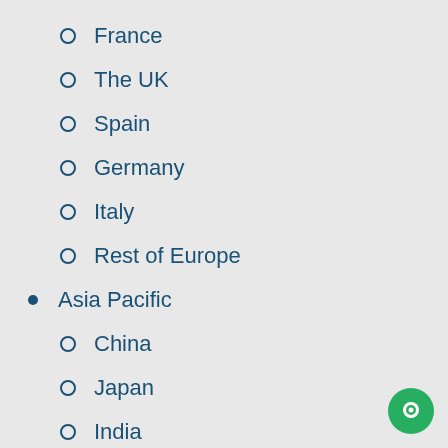France
The UK
Spain
Germany
Italy
Rest of Europe
Asia Pacific
China
Japan
India
South Korea
Southeast Asia
Rest of Asia Pacific